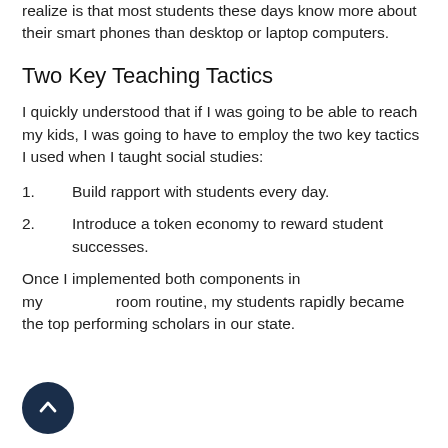realize is that most students these days know more about their smart phones than desktop or laptop computers.
Two Key Teaching Tactics
I quickly understood that if I was going to be able to reach my kids, I was going to have to employ the two key tactics I used when I taught social studies:
1. Build rapport with students every day.
2. Introduce a token economy to reward student successes.
Once I implemented both components in my classroom routine, my students rapidly became the top performing scholars in our state.